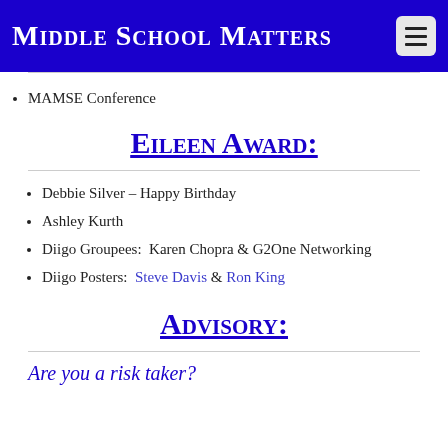Middle School Matters
MAMSE Conference
Eileen Award:
Debbie Silver – Happy Birthday
Ashley Kurth
Diigo Groupees:  Karen Chopra & G2One Networking
Diigo Posters:  Steve Davis & Ron King
Advisory:
Are you a risk taker?